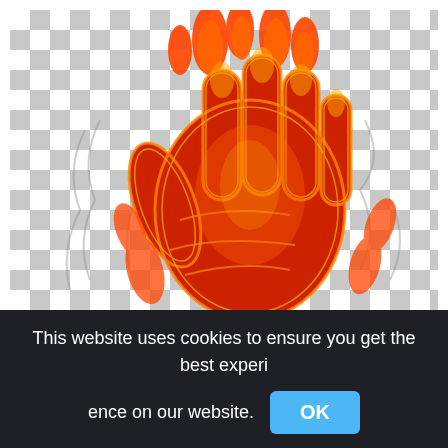[Figure (illustration): A fiery glowing hand with orange and red flames and smoke, displayed over a gray and white checkerboard transparency pattern background. The hand appears to be a digital illustration with neon-like fire effects.]
This website uses cookies to ensure you get the best experience on our website.